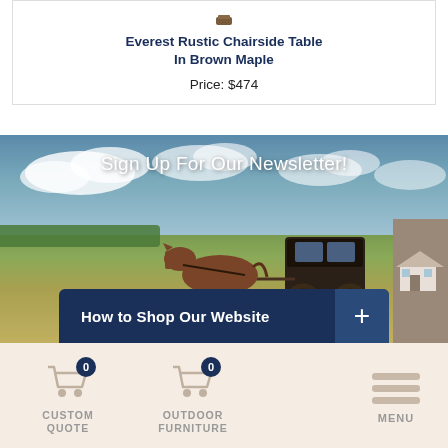Everest Rustic Chairside Table In Brown Maple
Price: $474
[Figure (photo): Outdoor scene with horse and buggy in a rural Amish countryside setting. Sky with clouds, green and golden fields, a road on the right. Overlaid with newsletter sign-up text and a 'How to Shop Our Website' button.]
Sign Up For Our Newsletter!
How to Shop Our Website +
CUSTOM QUOTE 0
OUTDOOR FURNITURE 0
MENU